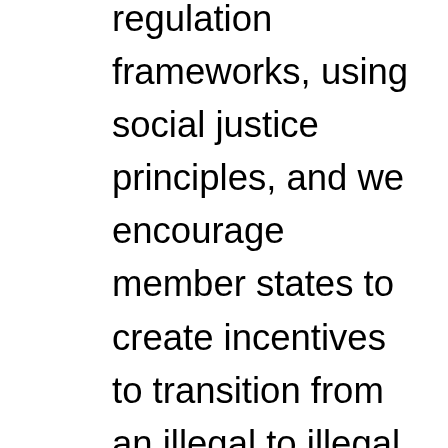regulation frameworks, using social justice principles, and we encourage member states to create incentives to transition from an illegal to illegal market. There are numerous policy innovations available to consider from harm reduction to market regulation. Only when rights are recognized protected and guaranteed, we begin to overcome structural inequities. In conclusion, we come to tell you that now more than ever, the drug policy reform movement is driven by people who cultivate and people who use drugs or productive professionals with cool lives, and you have shown that a drug free world is not possible. We are learning to live in peace with psychoactive substances, while we embrace legal regulation in the world as a means of guaranteeing human rights, promoting social